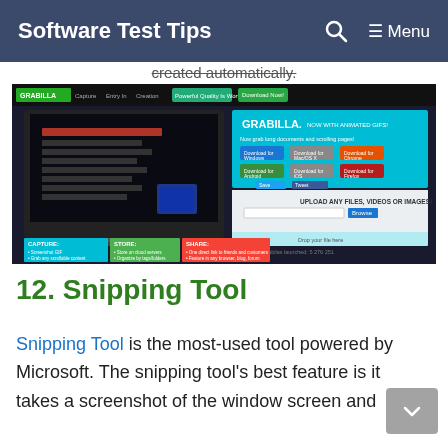Software Test Tips
created automatically.
[Figure (screenshot): Screenshot of the Grabilla website showing options to capture, store, and share screenshots, with download options for Windows, Mac, Chrome, Android, iOS, Firefox, and an upload area.]
12. Snipping Tool
Snipping Tool is the most-used tool powered by Microsoft. The snipping tool's best feature is it takes a screenshot of the window screen and